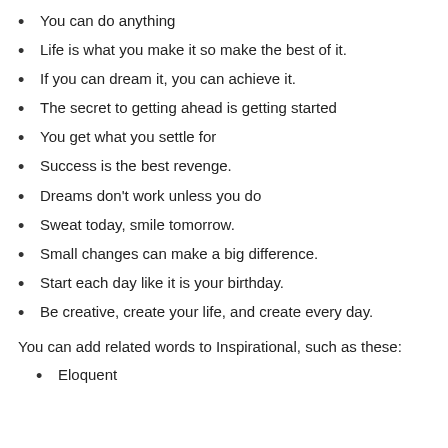You can do anything
Life is what you make it so make the best of it.
If you can dream it, you can achieve it.
The secret to getting ahead is getting started
You get what you settle for
Success is the best revenge.
Dreams don't work unless you do
Sweat today, smile tomorrow.
Small changes can make a big difference.
Start each day like it is your birthday.
Be creative, create your life, and create every day.
You can add related words to Inspirational, such as these:
Eloquent